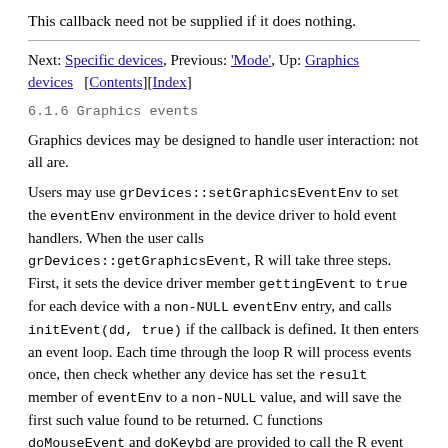This callback need not be supplied if it does nothing.
Next: Specific devices, Previous: 'Mode', Up: Graphics devices   [Contents][Index]
6.1.6 Graphics events
Graphics devices may be designed to handle user interaction: not all are.
Users may use grDevices::setGraphicsEventEnv to set the eventEnv environment in the device driver to hold event handlers. When the user calls grDevices::getGraphicsEvent, R will take three steps. First, it sets the device driver member gettingEvent to true for each device with a non-NULL eventEnv entry, and calls initEvent(dd, true) if the callback is defined. It then enters an event loop. Each time through the loop R will process events once, then check whether any device has set the result member of eventEnv to a non-NULL value, and will save the first such value found to be returned. C functions doMouseEvent and doKeybd are provided to call the R event handlers onMouseDown, onMouseMove, onMouseUp, and onKeybd and set eventEnv$result during this step. Finally, initEvent is called again with init=false to inform the the device that the loop is done, and the result is returned to the